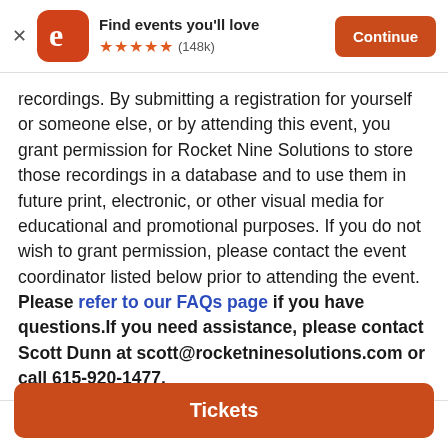Find events you'll love ★★★★★ (148k) Continue
recordings. By submitting a registration for yourself or someone else, or by attending this event, you grant permission for Rocket Nine Solutions to store those recordings in a database and to use them in future print, electronic, or other visual media for educational and promotional purposes. If you do not wish to grant permission, please contact the event coordinator listed below prior to attending the event. Please refer to our FAQs page if you have questions.If you need assistance, please contact Scott Dunn at scott@rocketninesolutions.com or call 615-920-1477.
$900 – $2,475
Tickets